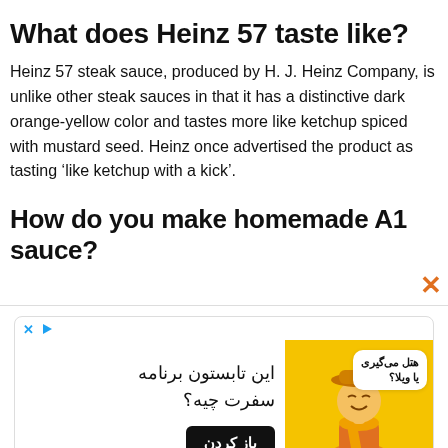What does Heinz 57 taste like?
Heinz 57 steak sauce, produced by H. J. Heinz Company, is unlike other steak sauces in that it has a distinctive dark orange-yellow color and tastes more like ketchup spiced with mustard seed. Heinz once advertised the product as tasting ‘like ketchup with a kick’.
How do you make homemade A1 sauce?
[Figure (other): Advertisement banner in Farsi for a travel app with a cartoon character on yellow background. Contains Farsi text and a black button labeled باز کردن (Open).]